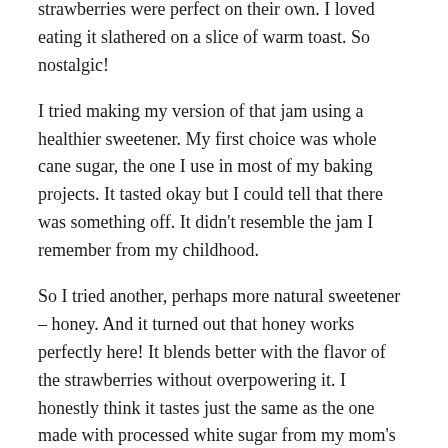strawberries were perfect on their own. I loved eating it slathered on a slice of warm toast. So nostalgic!
I tried making my version of that jam using a healthier sweetener. My first choice was whole cane sugar, the one I use in most of my baking projects. It tasted okay but I could tell that there was something off. It didn't resemble the jam I remember from my childhood.
So I tried another, perhaps more natural sweetener – honey. And it turned out that honey works perfectly here! It blends better with the flavor of the strawberries without overpowering it. I honestly think it tastes just the same as the one made with processed white sugar from my mom's recipe.
The proportions in the recipe make about 6 quart jars of delicious jam. Feel free to double or half it if you want to. I usually freeze all of the jars immediately except for one. That